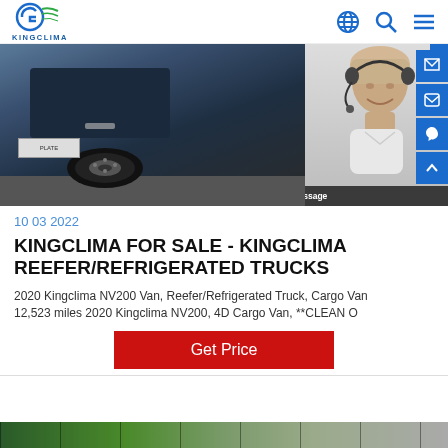KINGCLIMA
[Figure (photo): Close-up of a blue refrigerated truck/van showing tire and undercarriage on asphalt, with a customer support representative overlay on the right showing a woman with headset smiling, black and white photo, with 'Off Line to Leave a Message' chat bar]
10 03 2022
KINGCLIMA FOR SALE - KINGCLIMA REEFER/REFRIGERATED TRUCKS
2020 Kingclima NV200 Van, Reefer/Refrigerated Truck, Cargo Van 12,523 miles 2020 Kingclima NV200, 4D Cargo Van, **CLEAN O
Get Price
[Figure (photo): Bottom strip showing partial images of refrigerated vehicles/trucks in green and grey tones]